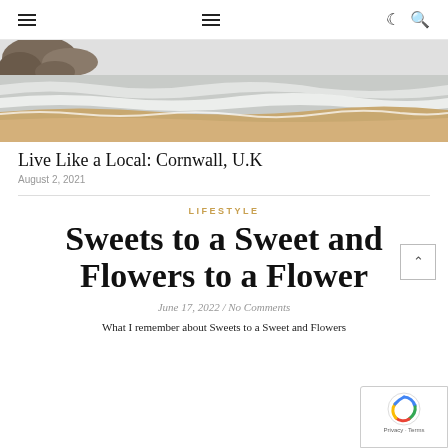≡  ≡  ☾ 🔍
[Figure (photo): Beach scene showing waves washing onto sandy shore with rocks in the background, black and white/sepia tones]
Live Like a Local: Cornwall, U.K
August 2, 2021
LIFESTYLE
Sweets to a Sweet and Flowers to a Flower
June 17, 2022 / No Comments
What I remember about Sweets to a Sweet and Flowers